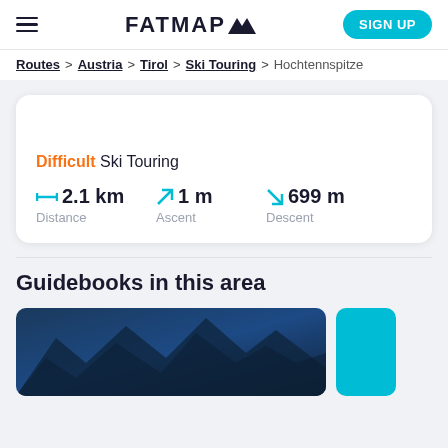FATMAP (logo) | SIGN UP
Routes > Austria > Tirol > Ski Touring > Hochtennspitze
Difficult Ski Touring
2.1 km Distance | 1 m Ascent | 699 m Descent
Guidebooks in this area
[Figure (photo): Mountain aerial photo used as guidebook cover]